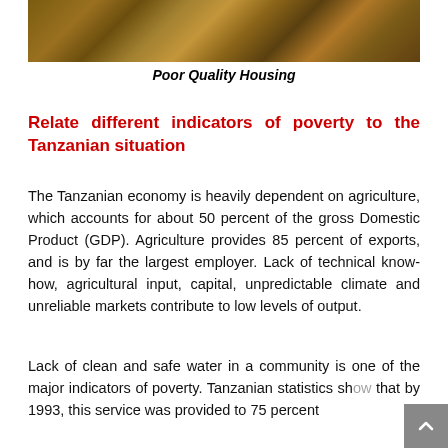[Figure (photo): Partial view of poor quality housing — earthen/brick structure with rudimentary construction]
Poor Quality Housing
Relate different indicators of poverty to the Tanzanian situation
The Tanzanian economy is heavily dependent on agriculture, which accounts for about 50 percent of the gross Domestic Product (GDP). Agriculture provides 85 percent of exports, and is by far the largest employer. Lack of technical know-how, agricultural input, capital, unpredictable climate and unreliable markets contribute to low levels of output.
Lack of clean and safe water in a community is one of the major indicators of poverty. Tanzanian statistics show that by 1993, this service was provided to 75 percent